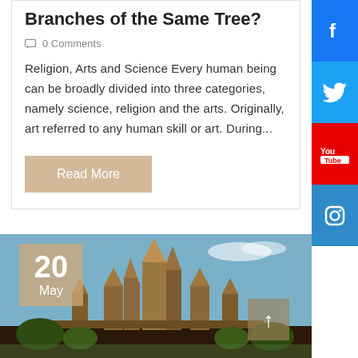Branches of the Same Tree?
0 Comments
Religion, Arts and Science Every human being can be broadly divided into three categories, namely science, religion and the arts. Originally, art referred to any human skill or art. During...
Read More
[Figure (photo): Temple complex (Angkor Wat style) photograph with date overlay showing '20 May' and an upward arrow button]
[Figure (infographic): Social media sidebar with Facebook, Twitter, YouTube, and Instagram buttons]